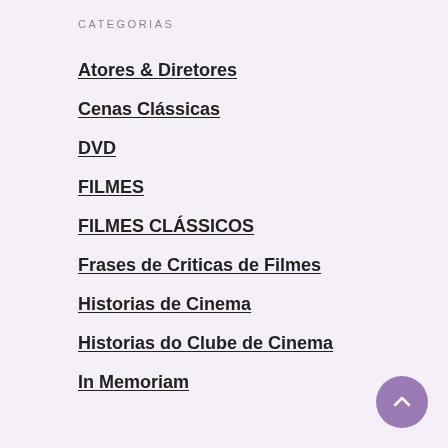CATEGORIAS
Atores & Diretores
Cenas Clássicas
DVD
FILMES
FILMES CLÁSSICOS
Frases de Criticas de Filmes
Historias de Cinema
Historias do Clube de Cinema
In Memoriam